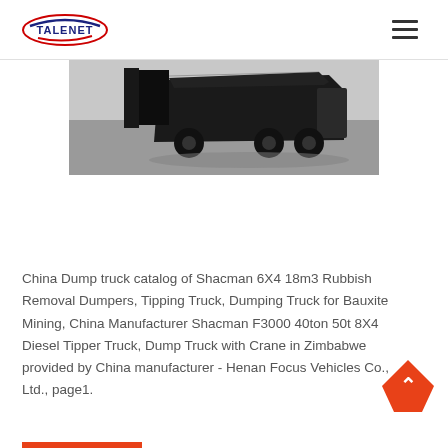TALENET
[Figure (photo): Partial view of a dark-colored dump truck / tipper truck, showing the rear/side angle against a grey background with shadow visible on ground.]
China Dump truck catalog of Shacman 6X4 18m3 Rubbish Removal Dumpers, Tipping Truck, Dumping Truck for Bauxite Mining, China Manufacturer Shacman F3000 40ton 50t 8X4 Diesel Tipper Truck, Dump Truck with Crane in Zimbabwe provided by China manufacturer - Henan Focus Vehicles Co., Ltd., page1.